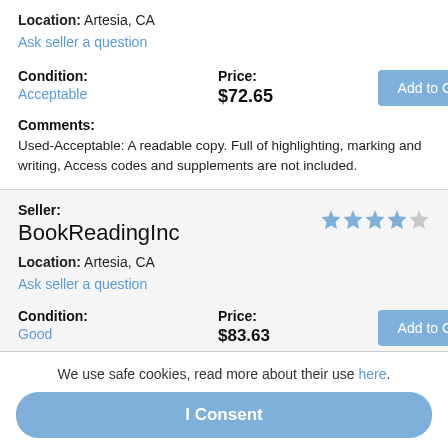Location: Artesia, CA
Ask seller a question
Condition: Acceptable
Price: $72.65
Add to Cart
Comments: Used-Acceptable: A readable copy. Full of highlighting, marking and writing, Access codes and supplements are not included.
Seller: BookReadingInc
Location: Artesia, CA
Ask seller a question
Condition: Good
Price: $83.63
Add to Cart
We use safe cookies, read more about their use here.
I Consent